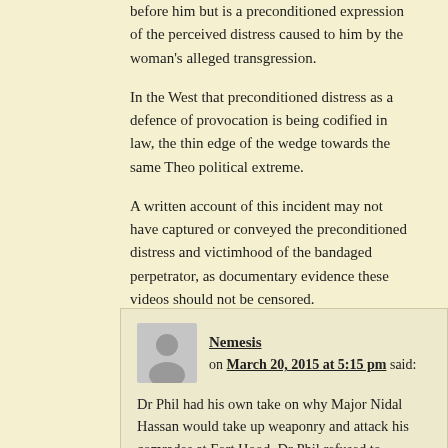before him but is a preconditioned expression of the perceived distress caused to him by the woman's alleged transgression.
In the West that preconditioned distress as a defence of provocation is being codified in law, the thin edge of the wedge towards the same Theo political extreme.
A written account of this incident may not have captured or conveyed the preconditioned distress and victimhood of the bandaged perpetrator, as documentary evidence these videos should not be censored.
Nemesis on March 20, 2015 at 5:15 pm said: Dr Phil had his own take on why Major Nidal Hassan would take up weaponry and attack his comrades at Fort Hood. Dr Phil refused to entertain the idea that Islam may have been represented by that attack, and even after all the Allahu Akbar's had been shouted out by Hasan as he shot and